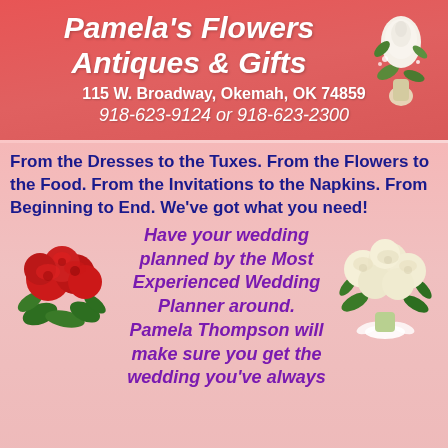Pamela's Flowers Antiques & Gifts
115 W. Broadway, Okemah, OK 74859
918-623-9124 or 918-623-2300
[Figure (photo): White rose boutonniere in top right corner]
From the Dresses to the Tuxes. From the Flowers to the Food. From the Invitations to the Napkins. From Beginning to End. We've got what you need!
[Figure (photo): Red rose bouquet on left side]
[Figure (photo): White/cream rose bouquet on right side]
Have your wedding planned by the Most Experienced Wedding Planner around. Pamela Thompson will make sure you get the wedding you've always